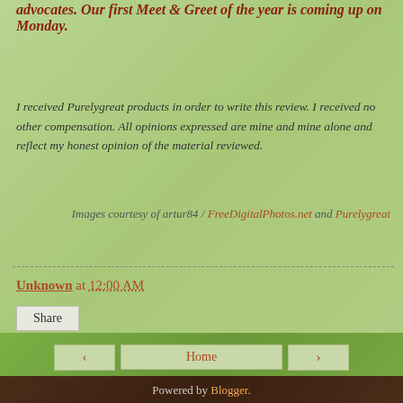advocates. Our first Meet & Greet of the year is coming up on Monday.
I received Purelygreat products in order to write this review. I received no other compensation. All opinions expressed are mine and mine alone and reflect my honest opinion of the material reviewed.
Images courtesy of artur84 / FreeDigitalPhotos.net and Purelygreat
Unknown at 12:00 AM
Share
Home | < | >
View web version
Powered by Blogger.